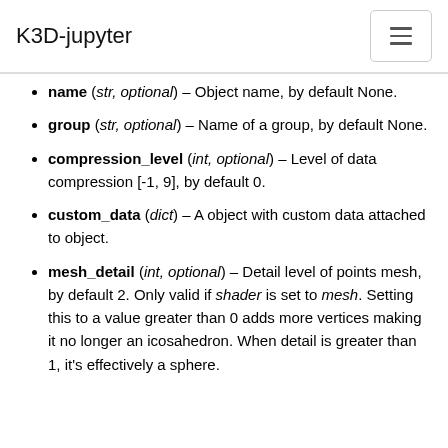K3D-jupyter
name (str, optional) – Object name, by default None.
group (str, optional) – Name of a group, by default None.
compression_level (int, optional) – Level of data compression [-1, 9], by default 0.
custom_data (dict) – A object with custom data attached to object.
mesh_detail (int, optional) – Detail level of points mesh, by default 2. Only valid if shader is set to mesh. Setting this to a value greater than 0 adds more vertices making it no longer an icosahedron. When detail is greater than 1, it's effectively a sphere.